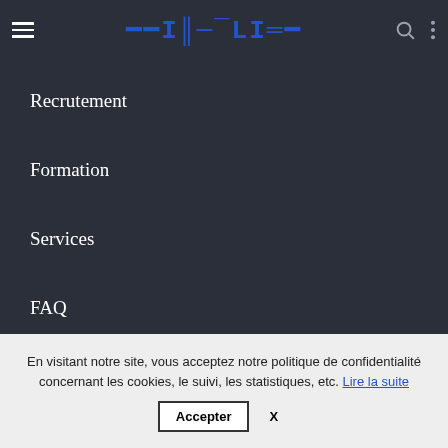DIGITALIZE
Recrutement
Formation
Services
FAQ
Contact
En visitant notre site, vous acceptez notre politique de confidentialité concernant les cookies, le suivi, les statistiques, etc. Lire la suite
Accepter   X